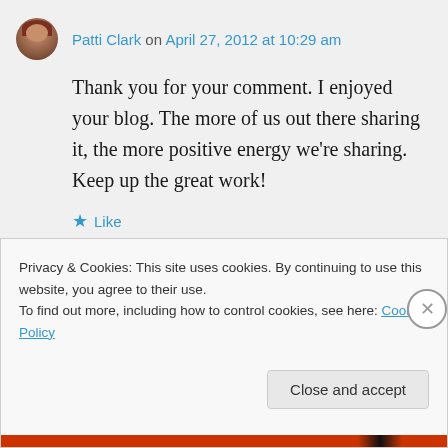Patti Clark on April 27, 2012 at 10:29 am
Thank you for your comment. I enjoyed your blog. The more of us out there sharing it, the more positive energy we’re sharing. Keep up the great work!
★ Like
↳ Reply
Privacy & Cookies: This site uses cookies. By continuing to use this website, you agree to their use.
To find out more, including how to control cookies, see here: Cookie Policy
Close and accept